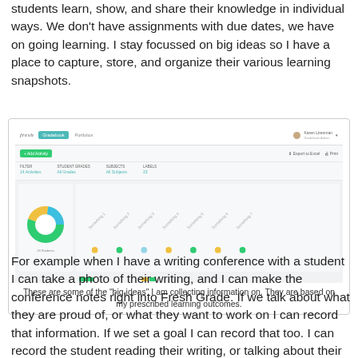students learn, show, and share their knowledge in individual ways. We don't have assignments with due dates, we have on going learning. I stay focussed on big ideas so I have a place to capture, store, and organize their various learning snapshots.
[Figure (screenshot): Screenshot of Fresh Grade gradebook interface showing a donut chart and a grid of student columns with colored dot indicators, along with toolbar with Add Activity button and Export/Print options.]
These are some of the "big ideas" I am collecting information on. They are based on my prescribed learning outcomes.
For example when I have a writing conference with a student I can take a photo of their writing, and I can make the conference notes right into Fresh Grade. If we talk about what they are proud of, or what they want to work on I can record that information. If we set a goal I can record that too. I can record the student reading their writing, or talking about their writing. Fresh Grade makes it easy for me to add this